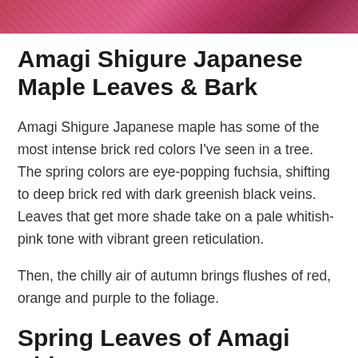[Figure (photo): Partial photo of Japanese maple leaves with deep pink/magenta fuchsia colors]
Amagi Shigure Japanese Maple Leaves & Bark
Amagi Shigure Japanese maple has some of the most intense brick red colors I've seen in a tree. The spring colors are eye-popping fuchsia, shifting to deep brick red with dark greenish black veins. Leaves that get more shade take on a pale whitish-pink tone with vibrant green reticulation.
Then, the chilly air of autumn brings flushes of red, orange and purple to the foliage.
Spring Leaves of Amagi Shigure